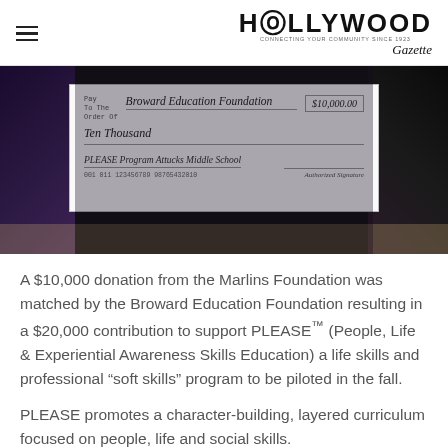HOLLYWOOD
[Figure (photo): People holding a large ceremonial check made out to Broward Education Foundation for $10,000.00, Ten Thousand dollars, for PLEASE Program Attucks Middle School]
A $10,000 donation from the Marlins Foundation was matched by the Broward Education Foundation resulting in a $20,000 contribution to support PLEASE™ (People, Life & Experiential Awareness Skills Education) a life skills and professional “soft skills” program to be piloted in the fall.
PLEASE promotes a character-building, layered curriculum focused on people, life and social skills.